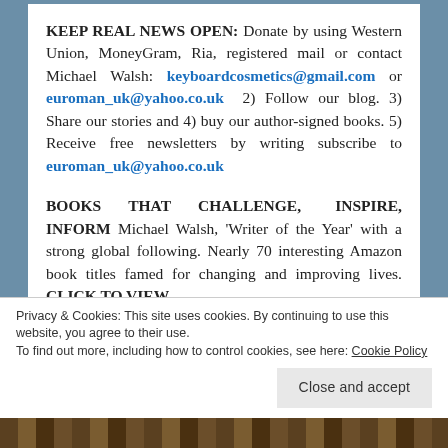KEEP REAL NEWS OPEN: Donate by using Western Union, MoneyGram, Ria, registered mail or contact Michael Walsh: keyboardcosmetics@gmail.com or euroman_uk@yahoo.co.uk 2) Follow our blog. 3) Share our stories and 4) buy our author-signed books. 5) Receive free newsletters by writing subscribe to euroman_uk@yahoo.co.uk
BOOKS THAT CHALLENGE, INSPIRE, INFORM Michael Walsh, 'Writer of the Year' with a strong global following. Nearly 70 interesting Amazon book titles famed for changing and improving lives. CLICK TO VIEW
Privacy & Cookies: This site uses cookies. By continuing to use this website, you agree to their use. To find out more, including how to control cookies, see here: Cookie Policy
Close and accept